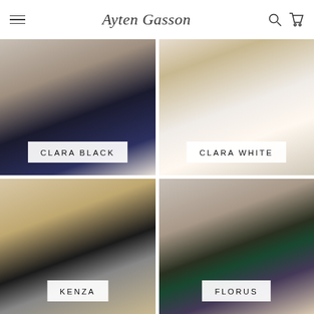Ayten Gasson
[Figure (photo): Model wearing Clara Black lingerie bra, dark navy lace underwire bra on a light background]
CLARA BLACK
[Figure (photo): Model wearing Clara White lingerie bra, white lace underwire bra with floral background]
CLARA WHITE
[Figure (photo): Model with curly hair wearing Kenza lingerie, sheer black lace bralette with bow on beige/gold background]
KENZA
[Figure (photo): Model with curly hair wearing Florus lingerie, dark floral print bralette with teal and pink details]
FLORUS